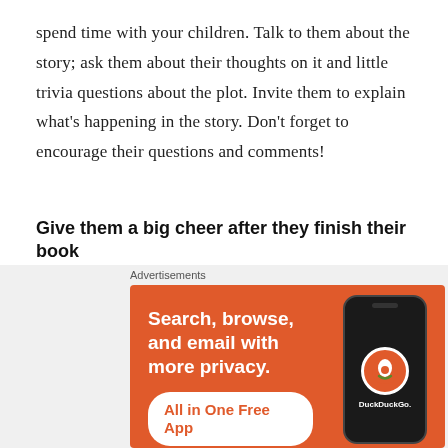spend time with your children. Talk to them about the story; ask them about their thoughts on it and little trivia questions about the plot. Invite them to explain what's happening in the story. Don't forget to encourage their questions and comments!
Give them a big cheer after they finish their book
Whenever My 7 year old daughter buys a new book, she comes home and starts reading it right away. And sure enough, after some time she comes up to me and tells me proudly that she already has
[Figure (other): DuckDuckGo advertisement banner with orange background. Text reads 'Search, browse, and email with more privacy. All in One Free App' with a phone image showing the DuckDuckGo logo.]